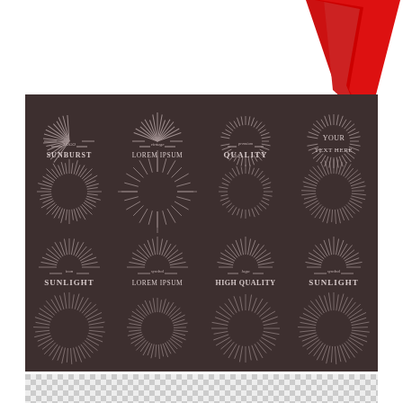[Figure (illustration): Red ribbon/arrow shape at top of page pointing downward]
[Figure (illustration): Collection of 12 vintage sunburst/starburst logo design elements on dark brown background arranged in 4x3 grid. Row 1 labels: LOGO SUNBURST, vintage LOREM IPSUM, premium QUALITY, YOUR TEXT HERE. Row 2: 4 blank sunburst designs. Row 3 labels: icon SUNLIGHT, symbol LOREM IPSUM, logo HIGH QUALITY, symbol SUNLIGHT. Row 4: 4 blank circular sunburst designs.]
[Figure (illustration): Transparent checker pattern panel at bottom]